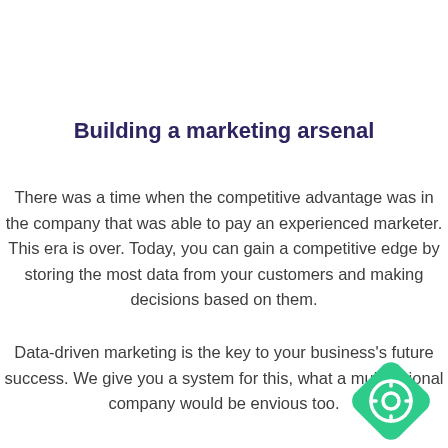Building a marketing arsenal
There was a time when the competitive advantage was in the company that was able to pay an experienced marketer. This era is over. Today, you can gain a competitive edge by storing the most data from your customers and making decisions based on them.
Data-driven marketing is the key to your business's future success. We give you a system for this, what a multinational company would be envious too.
[Figure (illustration): A green diamond-shaped icon containing a white help/support circle symbol with a smaller circle in the center, positioned at the bottom-right corner of the page.]